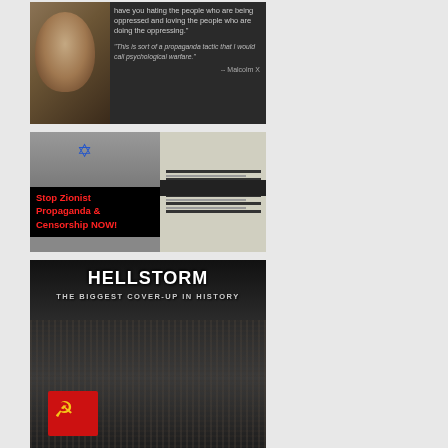[Figure (photo): Black and white photo of Malcolm X with a quote about psychological warfare and oppression, attributed to Malcolm X]
[Figure (infographic): Anti-Zionist propaganda image with a figure bearing Star of David symbol, red text reading 'Stop Zionist Propaganda & Censorship NOW!' on black background, newspaper imagery on right]
[Figure (photo): Hellstorm documentary/book cover: 'THE BIGGEST COVER-UP IN HISTORY' with dark crowd scene and Soviet hammer and sickle flag in the foreground]